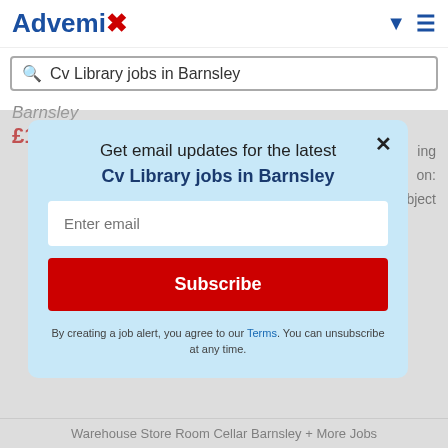[Figure (logo): Advemix logo with blue text and red X]
Cv Library jobs in Barnsley
Barnsley
£12 - £13
[Figure (screenshot): Email subscription modal popup with light blue background. Text: Get email updates for the latest Cv Library jobs in Barnsley. Email input field. Subscribe button. Terms footer text.]
Get email updates for the latest Cv Library jobs in Barnsley
Enter email
Subscribe
By creating a job alert, you agree to our Terms. You can unsubscribe at any time.
Warehouse Store Room Cellar Barnsley + More Jobs